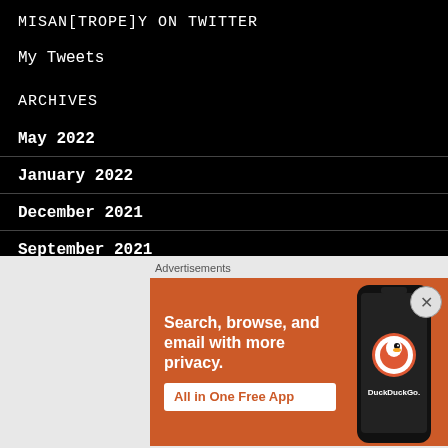MISAN[TROPE]Y ON TWITTER
My Tweets
ARCHIVES
May 2022
January 2022
December 2021
September 2021
June 2021
[Figure (screenshot): DuckDuckGo advertisement banner: orange background with text 'Search, browse, and email with more privacy. All in One Free App' and a phone showing DuckDuckGo app]
Advertisements